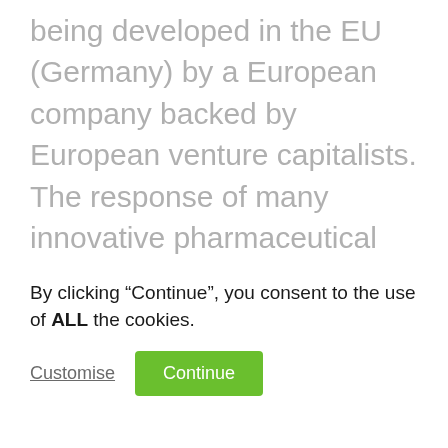being developed in the EU (Germany) by a European company backed by European venture capitalists. The response of many innovative pharmaceutical and biotech companies has shown how important they are for humanity to respond to new threats such as COVID swiftly. Companies such as BioNTech, Moderna, and AstraZeneca have quickly responded early on by developing new and ground-breaking vaccines that will make 2021 most likely more enjoyable than this
By clicking “Continue”, you consent to the use of ALL the cookies.
Customise
Continue